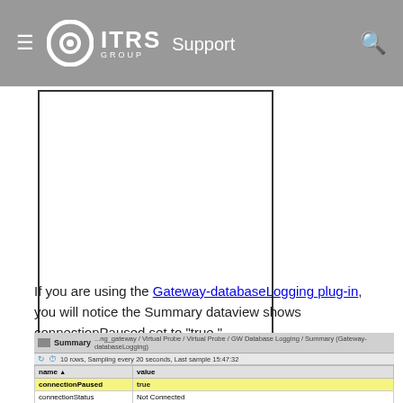ITRS Group Support
[Figure (screenshot): Blank screenshot box with dark border]
If you are using the Gateway-databaseLogging plug-in, you will notice the Summary dataview shows connectionPaused set to "true."
[Figure (screenshot): Summary dataview table showing connectionPaused set to true, connectionStatus: Not Connected, database: [redacted], discardingItemValues: false, enabled: true, host: [redacted]]